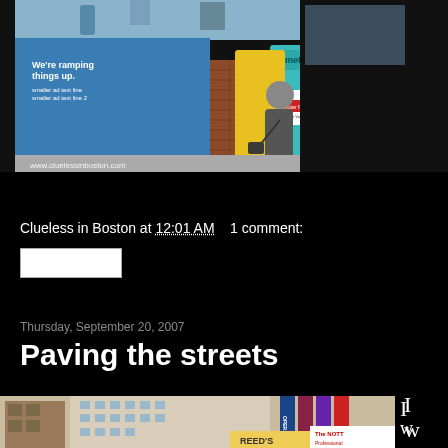[Figure (photo): Street scene in Boston showing newspaper/magazine vending machines (teal and yellow), a brick structure, a man with a bag, a blue advertisement sign reading 'We're ramping things up.' and 'metro', people on sidewalk, daytime urban setting. Bottom-left watermark: www.cluelessinboston.com]
Clueless in Boston at 12:01 AM   1 comment:
Thursday, September 20, 2007
Paving the streets
[Figure (photo): Street scene with multi-story buildings, colorful banners reading 'OPERA' and other text, a Reed's sign, 'The NOTT Professional' sign visible, urban Boston downtown street with cars and storefronts. Text partially visible on right side: 'I w e nt']